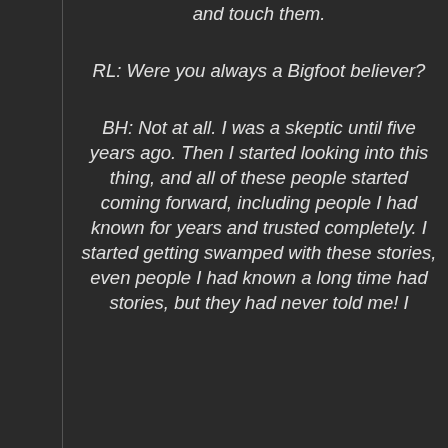and touch them.
RL: Were you always a Bigfoot believer?
BH: Not at all. I was a skeptic until five years ago. Then I started looking into this thing, and all of these people started coming forward, including people I had known for years and trusted completely. I started getting swamped with these stories, even people I had known a long time had stories, but they had never told me! I